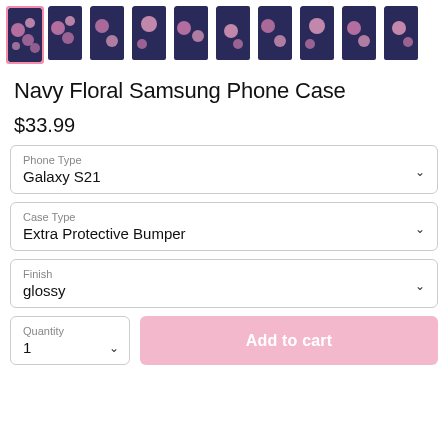[Figure (photo): Row of phone case thumbnail images with floral navy pattern; first thumbnail is selected with pink border]
Navy Floral Samsung Phone Case
$33.99
Phone Type: Galaxy S21
Case Type: Extra Protective Bumper
Finish: glossy
Quantity: 1
Add to cart